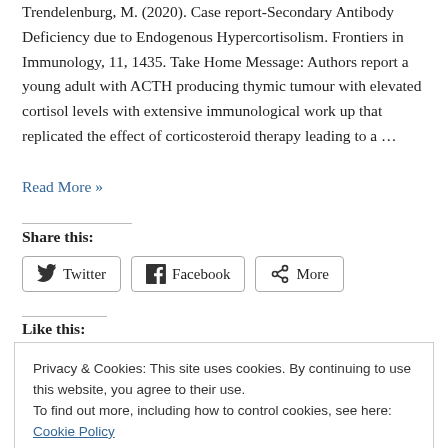Trendelenburg, M. (2020). Case report-Secondary Antibody Deficiency due to Endogenous Hypercortisolism. Frontiers in Immunology, 11, 1435. Take Home Message: Authors report a young adult with ACTH producing thymic tumour with elevated cortisol levels with extensive immunological work up that replicated the effect of corticosteroid therapy leading to a …
Read More »
Share this:
Twitter
Facebook
More
Like this:
Privacy & Cookies: This site uses cookies. By continuing to use this website, you agree to their use. To find out more, including how to control cookies, see here: Cookie Policy
Close and accept